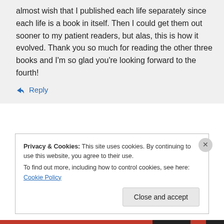almost wish that I published each life separately since each life is a book in itself. Then I could get them out sooner to my patient readers, but alas, this is how it evolved. Thank you so much for reading the other three books and I'm so glad you're looking forward to the fourth!
↳ Reply
Privacy & Cookies: This site uses cookies. By continuing to use this website, you agree to their use.
To find out more, including how to control cookies, see here: Cookie Policy
Close and accept